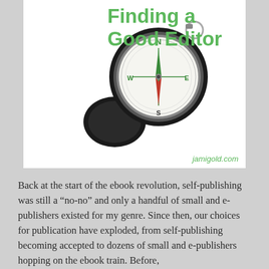[Figure (photo): A black compass with its lid open, showing compass face with N/S/E/W markings and green needle. The image also contains the title text 'Finding a Good Editor' in green and the watermark 'jamigold.com' in green at the bottom right.]
Back at the start of the ebook revolution, self-publishing was still a “no-no” and only a handful of small and e-publishers existed for my genre. Since then, our choices for publication have exploded, from self-publishing becoming accepted to dozens of small and e-publishers hopping on the ebook train. Before,